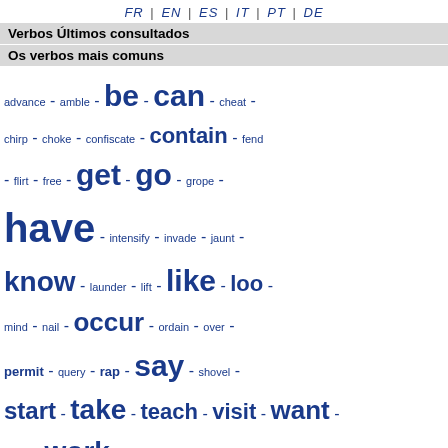FR | EN | ES | IT | PT | DE
Verbos Últimos consultados
Os verbos mais comuns
advance - amble - be - can - cheat - chirp - choke - confiscate - contain - fend - flirt - free - get - go - grope - have - intensify - invade - jaunt - know - launder - lift - like - loo - mind - nail - occur - ordain - over - permit - query - rap - say - shovel - start - take - teach - visit - want - work